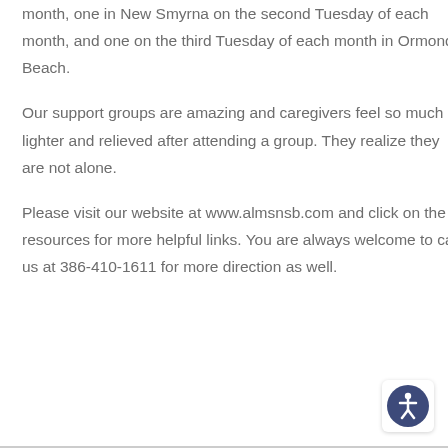month, one in New Smyrna on the second Tuesday of each month, and one on the third Tuesday of each month in Ormond Beach.
Our support groups are amazing and caregivers feel so much lighter and relieved after attending a group. They realize they are not alone.
Please visit our website at www.almsnsb.com and click on the resources for more helpful links. You are always welcome to call us at 386-410-1611 for more direction as well.
[Figure (other): Accessibility icon button — circular blue icon with a white human figure (wheelchair accessibility symbol) on a light background rounded rectangle]